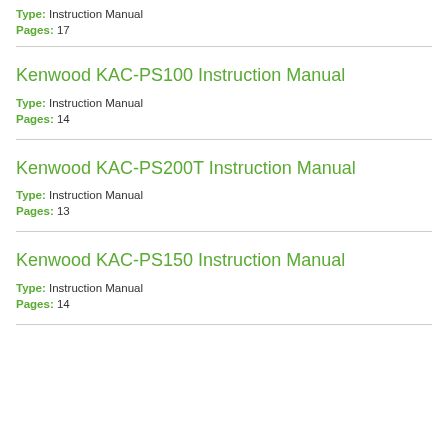Type: Instruction Manual
Pages: 17
Kenwood KAC-PS100 Instruction Manual
Type: Instruction Manual
Pages: 14
Kenwood KAC-PS200T Instruction Manual
Type: Instruction Manual
Pages: 13
Kenwood KAC-PS150 Instruction Manual
Type: Instruction Manual
Pages: 14